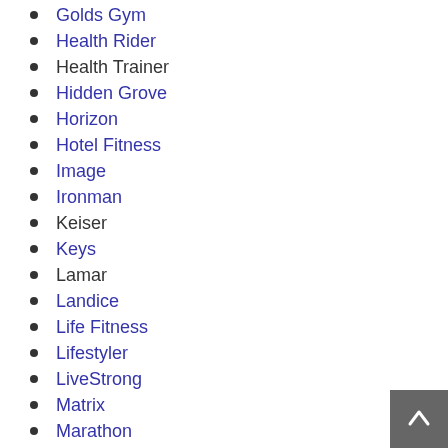Golds Gym
Health Rider
Health Trainer
Hidden Grove
Horizon
Hotel Fitness
Image
Ironman
Keiser
Keys
Lamar
Landice
Life Fitness
Lifestyler
LiveStrong
Matrix
Marathon
Merit